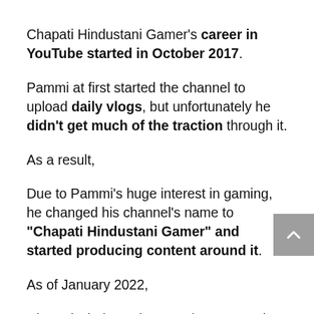Chapati Hindustani Gamer's career in YouTube started in October 2017.
Pammi at first started the channel to upload daily vlogs, but unfortunately he didn't get much of the traction through it.
As a result,
Due to Pammi's huge interest in gaming, he changed his channel's name to "Chapati Hindustani Gamer" and started producing content around it.
As of January 2022,
Chapati Hindustani Gamer happens to be